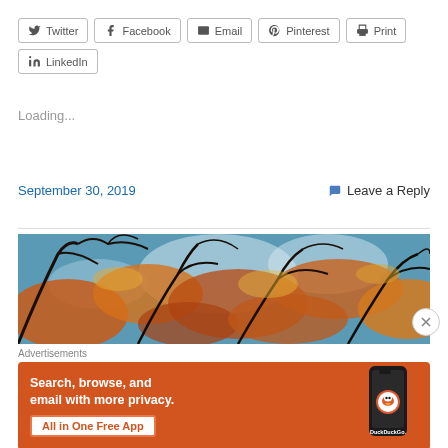Twitter
Facebook
Email
Pinterest
Print
LinkedIn
Loading...
September 30, 2019
Leave a Reply
[Figure (photo): Autumn tree canopy photographed from below, showing orange and yellow leaves against a bright sky with dark branching silhouettes]
Advertisements
[Figure (screenshot): DuckDuckGo advertisement banner: orange background with white text 'Search, browse, and email with more privacy.' and 'All in One Free App' button, alongside a phone mockup showing the DuckDuckGo app]